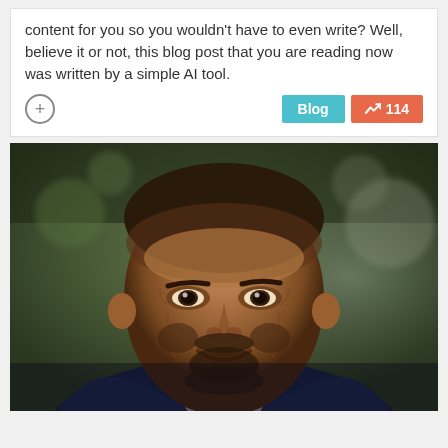content for you so you wouldn't have to even write? Well, believe it or not, this blog post that you are reading now was written by a simple AI tool.
[Figure (photo): Professional headshot of a smiling Black man with a short beard, wearing a dark navy blazer and light shirt, against a blurred green/grey outdoor background.]